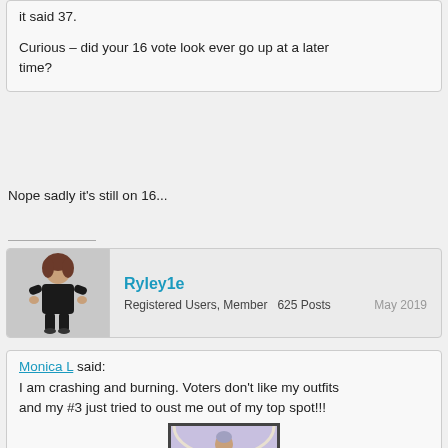it said 37.
Curious - did your 16 vote look ever go up at a later time?
Nope sadly it's still on 16...
Ryley1e
Registered Users, Member    625 Posts    May 2019
[Figure (illustration): Avatar of user Ryley1e - animated female character in black outfit]
Monica L said:
I am crashing and burning. Voters don't like my outfits and my #3 just tried to oust me out of my top spot!!!
[Figure (screenshot): In-game screenshot of a female character in a green dress in an ornate interior]